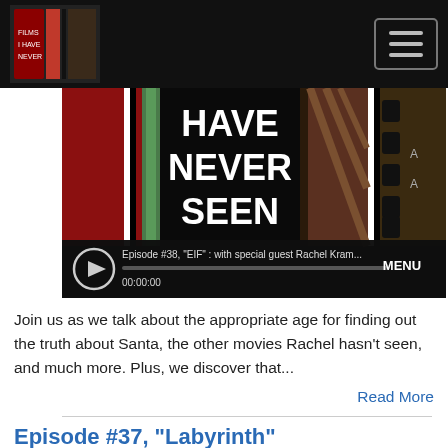[Figure (screenshot): A media player showing film reels with text 'HAVE NEVER SEEN' visible, with audio controls at the bottom showing episode #38, 'EIF': with special guest Rachel Kram..., progress bar, timestamp 00:00:00, and MENU button]
Join us as we talk about the appropriate age for finding out the truth about Santa, the other movies Rachel hasn't seen, and much more. Plus, we discover that...
Read More
Episode #37, "Labyrinth"